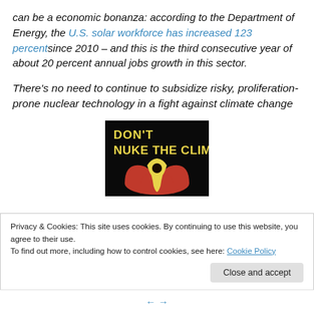can be a economic bonanza: according to the Department of Energy, the U.S. solar workforce has increased 123 percentsince 2010 – and this is the third consecutive year of about 20 percent annual jobs growth in this sector.
There's no need to continue to subsidize risky, proliferation-prone nuclear technology in a fight against climate change
[Figure (illustration): Black background image with bold yellow text reading 'DON'T NUKE THE CLIMATE' and a stylized graphic below showing a red nuclear/radiation symbol shape with a dripping yellow center]
Privacy & Cookies: This site uses cookies. By continuing to use this website, you agree to their use. To find out more, including how to control cookies, see here: Cookie Policy